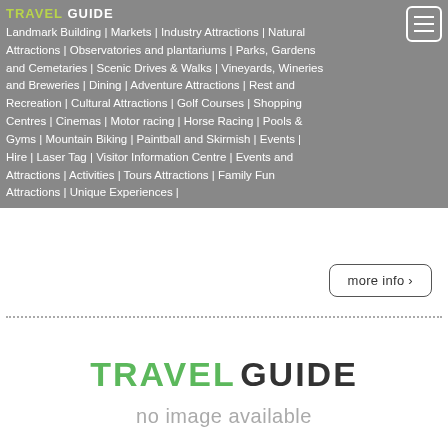TRAVEL GUIDE
Landmark Building | Markets | Industry Attractions | Natural Attractions | Observatories and plantariums | Parks, Gardens and Cemetaries | Scenic Drives & Walks | Vineyards, Wineries and Breweries | Dining | Adventure Attractions | Rest and Recreation | Cultural Attractions | Golf Courses | Shopping Centres | Cinemas | Motor racing | Horse Racing | Pools & Gyms | Mountain Biking | Paintball and Skirmish | Events | Hire | Laser Tag | Visitor Information Centre | Events and Attractions | Activities | Tours Attractions | Family Fun Attractions | Unique Experiences |
more info ›
[Figure (logo): Travel Guide logo with 'TRAVEL' in green and 'GUIDE' in dark gray, followed by 'no image available' text in light gray]